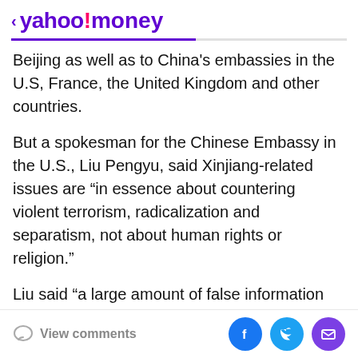< yahoo!money
Beijing as well as to China's embassies in the U.S, France, the United Kingdom and other countries.
But a spokesman for the Chinese Embassy in the U.S., Liu Pengyu, said Xinjiang-related issues are “in essence about countering violent terrorism, radicalization and separatism, not about human rights or religion.”
Liu said “a large amount of false information has been spread” about China’s policies in Xinjiang, and he included a link to a “fact check” published by an official state press agency. Among other things, that site attacks Zenz’s credibility and says his reports are “full of fabrications and data manipulation.”
View comments